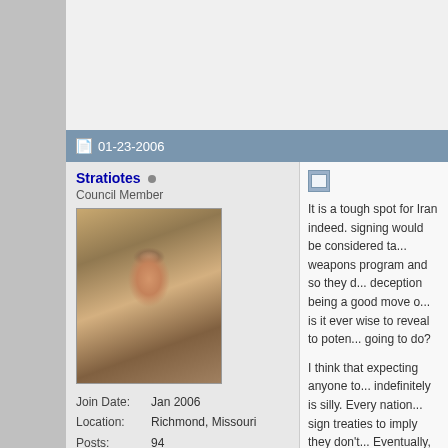01-23-2006
Stratiotes
Council Member
[Figure (photo): Mosaic-style portrait of a bearded figure, appearing to be a Byzantine or Roman mosaic artwork]
Join Date: Jan 2006
Location: Richmond, Missouri
Posts: 94
It is a tough spot for Iran indeed. signing would be considered ta... weapons program and so they d... deception being a good move o... is it ever wise to reveal to poten... going to do?
I think that expecting anyone to... indefinitely is silly. Every nation... sign treaties to imply they don't... Eventually, they're going to get ... figure out how to live with that.
Mark
Discuss at: The Irregulars Visit ...
"The true soldier fights not beca... but because he loves what is be...